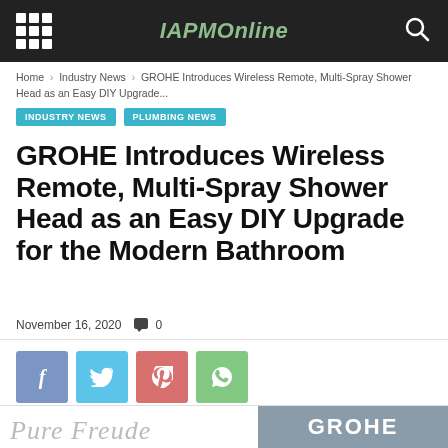IAPMOnline
Home › Industry News › GROHE Introduces Wireless Remote, Multi-Spray Shower Head as an Easy DIY Upgrade...
INDUSTRY NEWS
PLUMBING NEWS
GROHE Introduces Wireless Remote, Multi-Spray Shower Head as an Easy DIY Upgrade for the Modern Bathroom
November 16, 2020   🗨 0
[Figure (other): Social share buttons: Facebook, Twitter, Pinterest, WhatsApp]
[Figure (other): Bottom partial image showing cursive text 'Pure Freude' on left and GROHE logo on grey background on right]